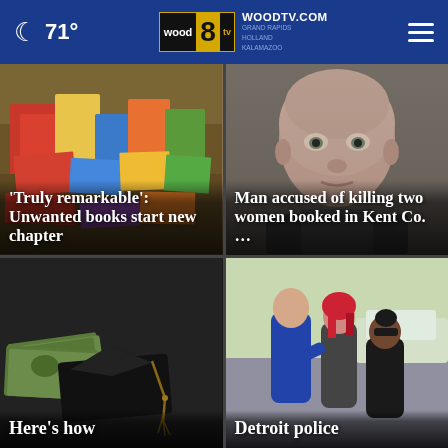71° WOODTV.COM GRAND RAPIDS HOLLAND KALAMAZOO
[Figure (photo): Pile of colorful books and magazines]
‘Truly remarkable’: Unwanted books start new chapter
[Figure (photo): Mugshot of older bald man]
Man accused of killing two women booked in Kent Co. …
[Figure (photo): Money and graduation cap]
Here’s how
[Figure (photo): Detroit police officers at a scene]
Detroit police